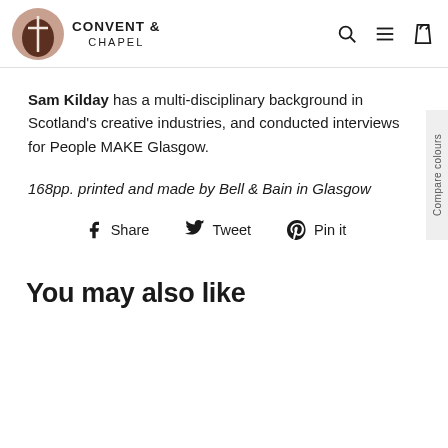CONVENT & CHAPEL
Sam Kilday has a multi-disciplinary background in Scotland's creative industries, and conducted interviews for People MAKE Glasgow.
168pp. printed and made by Bell & Bain in Glasgow
Share   Tweet   Pin it
You may also like